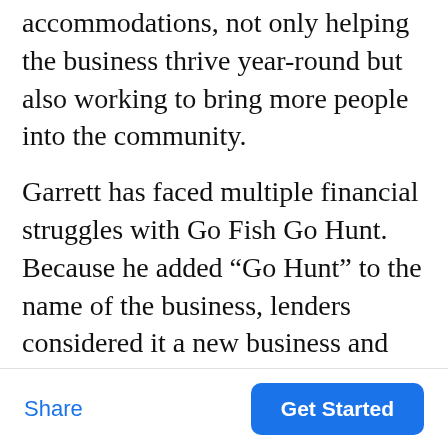accommodations, not only helping the business thrive year-round but also working to bring more people into the community.
Garrett has faced multiple financial struggles with Go Fish Go Hunt. Because he added “Go Hunt” to the name of the business, lenders considered it a new business and thus had difficulty qualifying for attractive long-term, low-risk loans. In addition, in 2012 Garrett bought $10,000 worth of bait for the Fourth of July weekend.
Share | Get Started